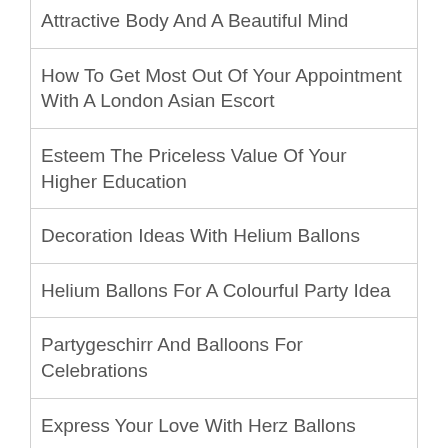Attractive Body And A Beautiful Mind
How To Get Most Out Of Your Appointment With A London Asian Escort
Esteem The Priceless Value Of Your Higher Education
Decoration Ideas With Helium Ballons
Helium Ballons For A Colourful Party Idea
Partygeschirr And Balloons For Celebrations
Express Your Love With Herz Ballons
Creating The Perfect Ambience With Balloons And Wabenbälle